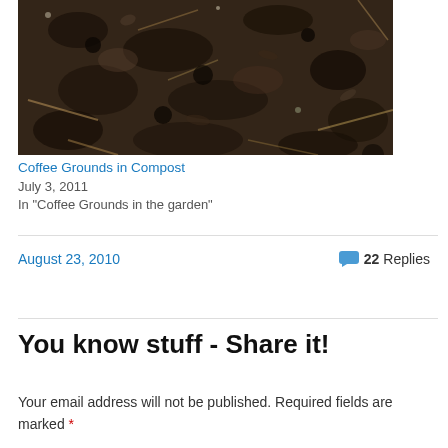[Figure (photo): Close-up photo of coffee grounds mixed with compost/soil material, showing dark earthy texture with organic matter and straw-like fragments]
Coffee Grounds in Compost
July 3, 2011
In "Coffee Grounds in the garden"
August 23, 2010
22 Replies
You know stuff - Share it!
Your email address will not be published. Required fields are marked *